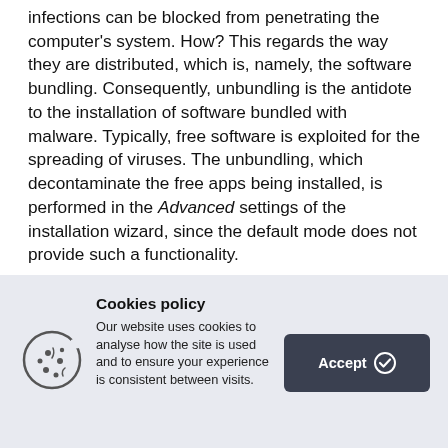infections can be blocked from penetrating the computer's system. How? This regards the way they are distributed, which is, namely, the software bundling. Consequently, unbundling is the antidote to the installation of software bundled with malware. Typically, free software is exploited for the spreading of viruses. The unbundling, which decontaminate the free apps being installed, is performed in the Advanced settings of the installation wizard, since the default mode does not provide such a functionality.
[Figure (other): Cookie policy banner with cookie icon, text about cookies policy, and an Accept button]